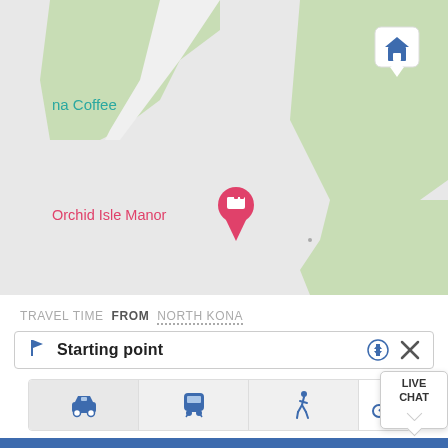[Figure (map): Map screenshot showing a neighborhood area with green zones (vegetation/parks) and gray roads. A home/house map pin marker is visible near the top center. A pink/red location pin with a bed icon marks 'Orchid Isle Manor' in the lower left area. Teal text label reads 'na Coffee' (partially cut off) in the upper left.]
TRAVEL TIME FROM NORTH KONA
Starting point
[Figure (infographic): Transport mode tabs showing icons for car (selected/highlighted), train/bus, walking, and cycling. A Live Chat button appears at the far right.]